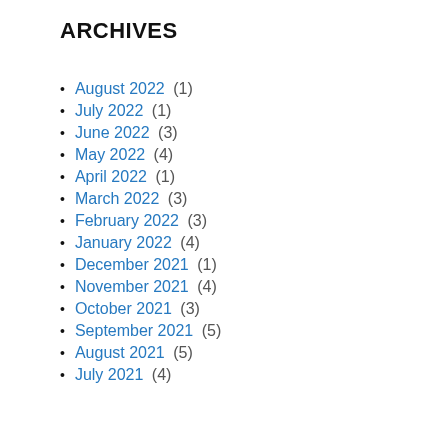ARCHIVES
August 2022 (1)
July 2022 (1)
June 2022 (3)
May 2022 (4)
April 2022 (1)
March 2022 (3)
February 2022 (3)
January 2022 (4)
December 2021 (1)
November 2021 (4)
October 2021 (3)
September 2021 (5)
August 2021 (5)
July 2021 (4)